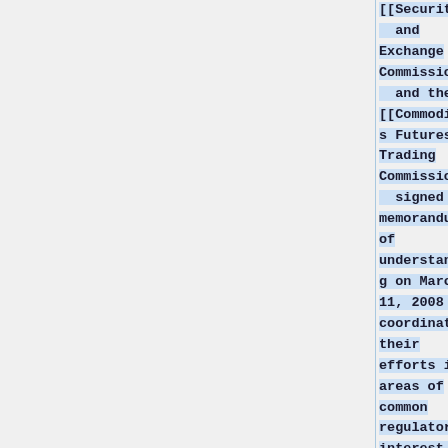[[Securities and Exchange Commission]] and the [[Commodities Futures Trading Commission]] signed a memorandum of understanding on March 11, 2008 to coordinate their efforts in areas of common regulatory interest in